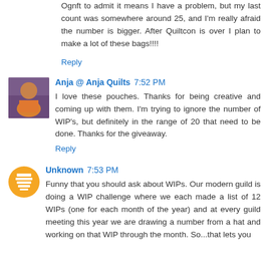Ognft to admit it means I have a problem, but my last count was somewhere around 25, and I'm really afraid the number is bigger. After Quiltcon is over I plan to make a lot of these bags!!!!
Reply
Anja @ Anja Quilts  7:52 PM
I love these pouches. Thanks for being creative and coming up with them. I'm trying to ignore the number of WIP's, but definitely in the range of 20 that need to be done. Thanks for the giveaway.
Reply
Unknown  7:53 PM
Funny that you should ask about WIPs. Our modern guild is doing a WIP challenge where we each made a list of 12 WIPs (one for each month of the year) and at every guild meeting this year we are drawing a number from a hat and working on that WIP through the month. So...that lets you